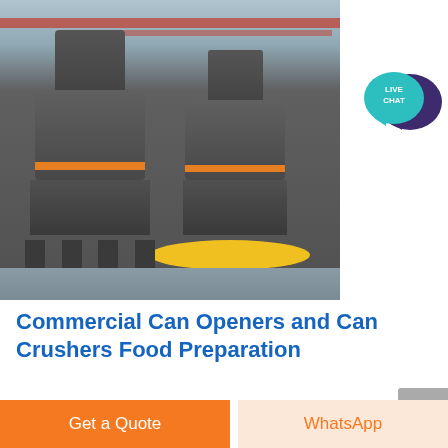[Figure (photo): Industrial cone crushers / grinding mills in a factory setting — large grey metal cylindrical machines with orange bands, mounted on steel frames, inside a warehouse with steel roof structure.]
Commercial Can Openers and Can Crushers Food Preparation
Get a Quote
WhatsApp